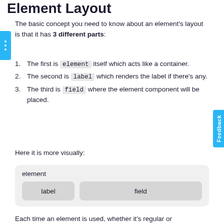Element Layout
The basic concept you need to know about an element's layout is that it has 3 different parts:
1. The first is element itself which acts like a container.
2. The second is label which renders the label if there's any.
3. The third is field where the element component will be placed.
Here it is more visually:
[Figure (infographic): Diagram showing element layout with an outer box labeled 'element' containing two inner boxes labeled 'label' and 'field']
Each time an element is used, whether it's regular or